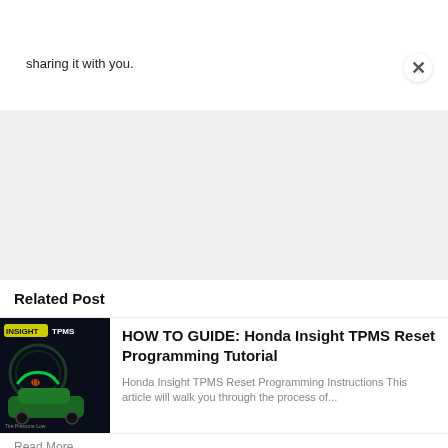sharing it with you.
[Figure (screenshot): Close button (X) in top-right corner of a popup/modal overlay]
[Figure (photo): Gray advertisement or content placeholder area]
Related Post
[Figure (photo): Thumbnail image showing Honda Insight car with TPMS dashboard display, green car, dark background with INSIGHT and TPMS labels]
HOW TO GUIDE: Honda Insight TPMS Reset Programming Tutorial
Honda Insight TPMS Reset Programming Instructions This article will walk you through the process of...
Read More